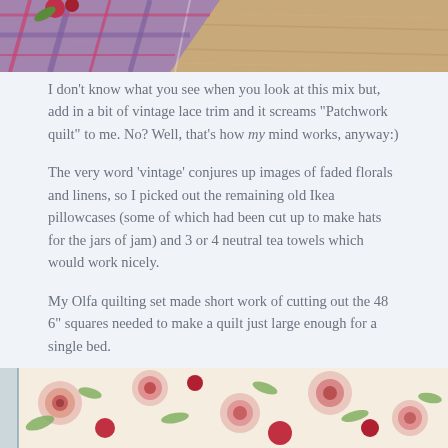[Figure (photo): Top portion of photo showing plaid/tartan fabric on wooden floor background, partially cropped]
I don't know what you see when you look at this mix but, add in a bit of vintage lace trim and it screams “Patchwork quilt” to me. No? Well, that’s how my mind works, anyway:)
The very word ‘vintage’ conjures up images of faded florals and linens, so I picked out the remaining old Ikea pillowcases (some of which had been cut up to make hats for the jars of jam) and 3 or 4 neutral tea towels which would work nicely.
My Olfa quilting set made short work of cutting out the 48 6” squares needed to make a quilt just large enough for a single bed.
[Figure (photo): Bottom portion showing floral fabric with red and pink roses on cream/white background, partially cropped]